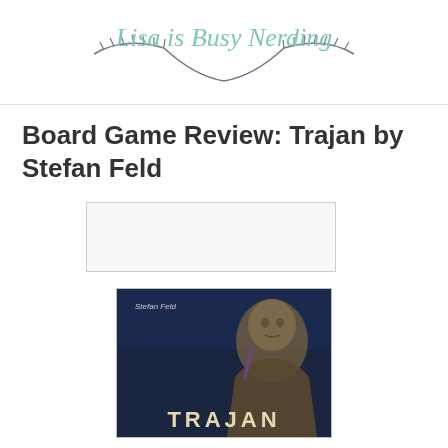Lisa is Busy Nerding
Board Game Review: Trajan by Stefan Feld
[Figure (other): Advertisement placeholder box with light gray border]
[Figure (photo): Book/game cover image for 'Trajan' by Stefan Feld — dark blue background with a bronze Roman bust sculpture, text reads 'Stefan Feld' at top and 'TRAJAN' in large letters at the bottom]